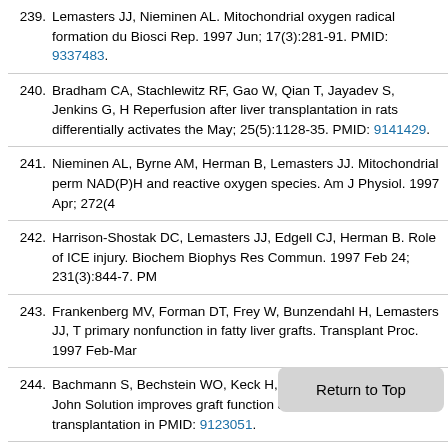239. Lemasters JJ, Nieminen AL. Mitochondrial oxygen radical formation du... Biosci Rep. 1997 Jun; 17(3):281-91. PMID: 9337483.
240. Bradham CA, Stachlewitz RF, Gao W, Qian T, Jayadev S, Jenkins G, H... Reperfusion after liver transplantation in rats differentially activates the... May; 25(5):1128-35. PMID: 9141429.
241. Nieminen AL, Byrne AM, Herman B, Lemasters JJ. Mitochondrial perm... NAD(P)H and reactive oxygen species. Am J Physiol. 1997 Apr; 272(4...
242. Harrison-Shostak DC, Lemasters JJ, Edgell CJ, Herman B. Role of ICE... injury. Biochem Biophys Res Commun. 1997 Feb 24; 231(3):844-7. PM...
243. Frankenberg MV, Forman DT, Frey W, Bunzendahl H, Lemasters JJ, T... primary nonfunction in fatty liver grafts. Transplant Proc. 1997 Feb-Mar...
244. Bachmann S, Bechstein WO, Keck H, Lemmens HP, Brandes N, John... Solution improves graft function after orthotopic liver transplantation in... PMID: 9123051.
245. Rudolph JG, Lemasters JJ, Crews FT. Use of a multiwell fluorescence... excitotoxicity in rat cortical neuronal cultures. N... 7 Jan... Citations: 6
246. Lemasters JJ, Thurman DC. Reperfusion injury after liver preservation...